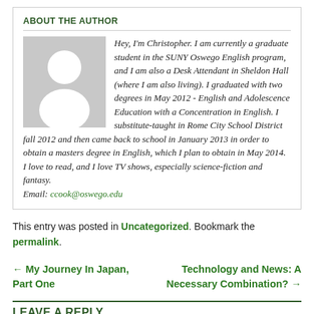ABOUT THE AUTHOR
[Figure (illustration): Generic placeholder avatar: gray background with white silhouette of a person (head and shoulders)]
Hey, I'm Christopher. I am currently a graduate student in the SUNY Oswego English program, and I am also a Desk Attendant in Sheldon Hall (where I am also living). I graduated with two degrees in May 2012 - English and Adolescence Education with a Concentration in English. I substitute-taught in Rome City School District fall 2012 and then came back to school in January 2013 in order to obtain a masters degree in English, which I plan to obtain in May 2014. I love to read, and I love TV shows, especially science-fiction and fantasy. Email: ccook@oswego.edu
This entry was posted in Uncategorized. Bookmark the permalink.
← My Journey In Japan, Part One
Technology and News: A Necessary Combination? →
LEAVE A REPLY